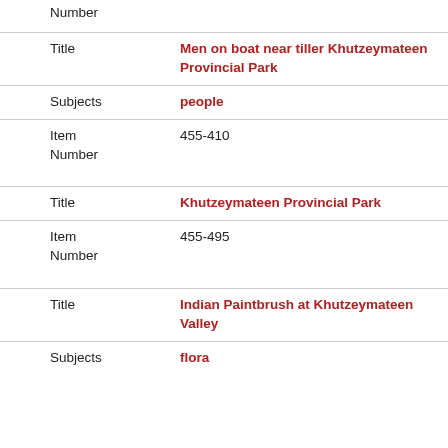Number
| Title | Men on boat near tiller Khutzeymateen Provincial Park |
| Subjects | people |
| Item Number | 455-410 |
| Title | Khutzeymateen Provincial Park |
| Item Number | 455-495 |
| Title | Indian Paintbrush at Khutzeymateen Valley |
| Subjects | flora |